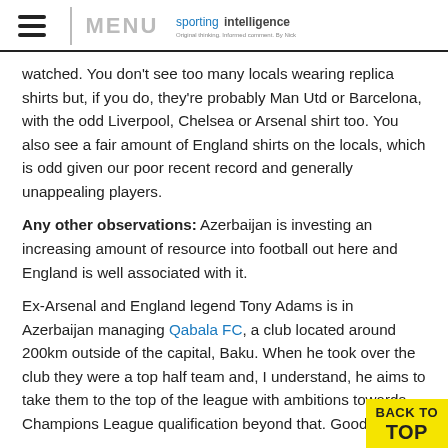MENU | sportingintelligence
watched. You don't see too many locals wearing replica shirts but, if you do, they're probably Man Utd or Barcelona, with the odd Liverpool, Chelsea or Arsenal shirt too. You also see a fair amount of England shirts on the locals, which is odd given our poor recent record and generally unappealing players.
Any other observations: Azerbaijan is investing an increasing amount of resource into football out here and England is well associated with it.
Ex-Arsenal and England legend Tony Adams is in Azerbaijan managing Qabala FC, a club located around 200km outside of the capital, Baku. When he took over the club they were a top half team and, I understand, he aims to take them to the top of the league with ambitions towards Champions League qualification beyond that. Good luck.
Azerbaijan's biggest footballing export is someone very clo...